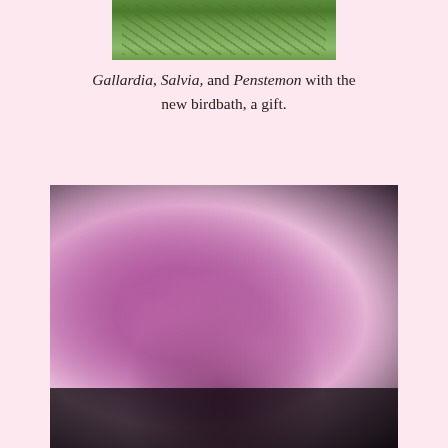[Figure (photo): Photograph of garden plants including Gallardia, Salvia, and Penstemon with green foliage, partial crop at top of page]
Gallardia, Salvia, and Penstemon with the new birdbath, a gift.
[Figure (photo): Close-up macro photograph of pink rose-like flowers (likely rose or similar) with a dark insect (bee or similar) visible at the bottom of the frame against dark background]